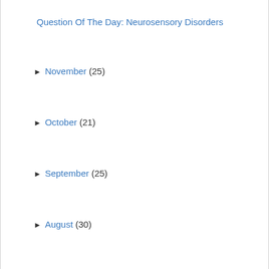Question Of The Day: Neurosensory Disorders
► November (25)
► October (21)
► September (25)
► August (30)
► July (27)
► June (28)
► May (25)
► April (25)
► March (23)
► February (20)
► January (26)